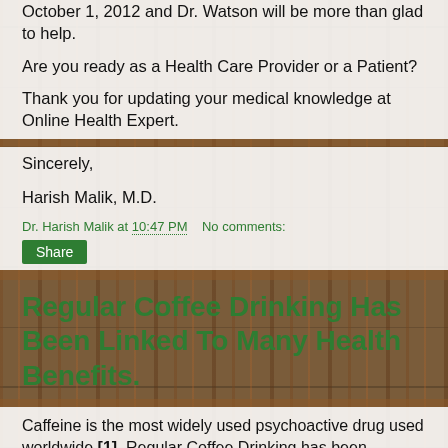October 1, 2012 and Dr. Watson will be more than glad to help.
Are you ready as a Health Care Provider or a Patient?
Thank you for updating your medical knowledge at Online Health Expert.
Sincerely,
Harish Malik, M.D.
Dr. Harish Malik at 10:47 PM   No comments:
Share
Regular Coffee Drinking Has Been Linked To Many Health Benefits.
Caffeine is the most widely used psychoactive drug used worldwide [1]. Regular Coffee Drinking has been recently in the NEWS several times and has been linked with the